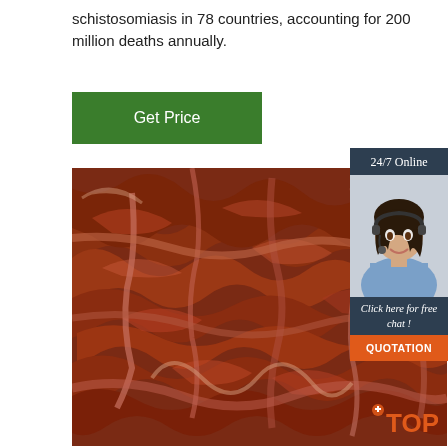schistosomiasis in 78 countries, accounting for 200 million deaths annually.
[Figure (other): Green button labeled 'Get Price']
[Figure (photo): Close-up photograph of a large mass of reddish-brown earthworms tangled together]
[Figure (infographic): Sidebar widget with '24/7 Online' header, photo of female customer service agent with headset, 'Click here for free chat!' text, and orange QUOTATION button]
[Figure (logo): Orange TOP logo in bottom right corner]